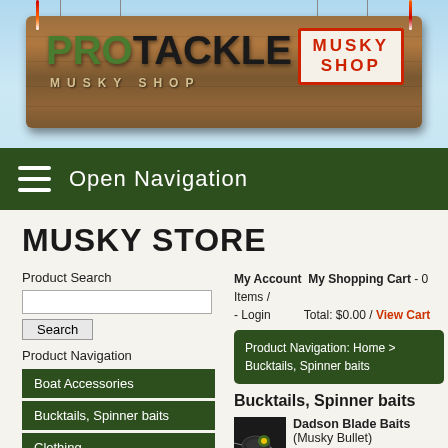[Figure (screenshot): Pro Tackle Musky Shop banner logo on wooden background with Musky Shop badge]
Open Navigation
MUSKY STORE
Product Search
Search
Product Navigation
Boat Accessories
Bucktails, Spinner baits
Clothing
Crank baits
My Account  My Shopping Cart - 0 Items / - Login  Total: $0.00 / View Cart
Product Navigation: Home > Bucktails, Spinner baits
Bucktails, Spinner baits
[Figure (photo): Product thumbnail image of Dadson Blade Baits - Musky Bullet lure]
Dadson Blade Baits (Musky Bullet)
The Musky Bullet was designed